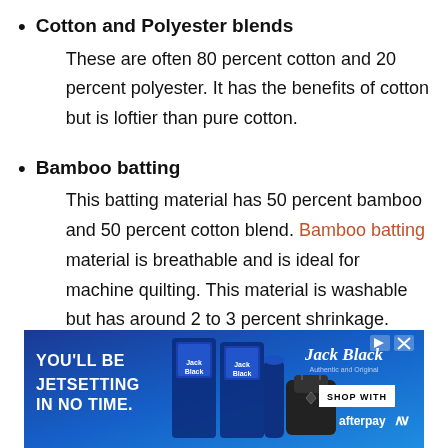Cotton and Polyester blends
These are often 80 percent cotton and 20 percent polyester. It has the benefits of cotton but is loftier than pure cotton.
Bamboo batting
This batting material has 50 percent bamboo and 50 percent cotton blend. Bamboo batting material is breathable and is ideal for machine quilting. This material is washable but has around 2 to 3 percent shrinkage.
[Figure (infographic): Advertisement banner for Jack Black grooming products with text 'YOU'LL BE JETSETTING IN NO TIME.' showing product lineup and 'SHOP WITH afterpay' button on blue background.]